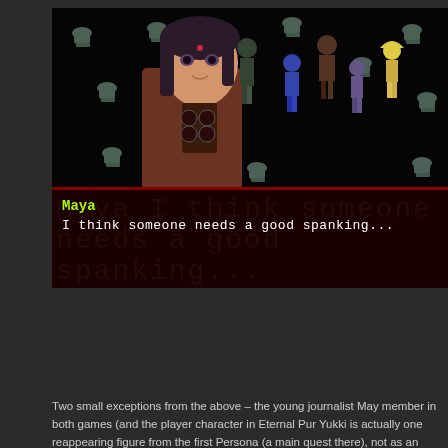[Figure (screenshot): Screenshot from the video game Persona 2 showing a battle scene with character Maya in the foreground on the left side, various colorful characters in the background against a black background filled with floating toilet sprites. A dialogue box at the bottom shows Maya speaking.]
Two small exceptions from the above – the young journalist May member in both games (and the player character in Eternal Pur Yukki is actually one reappearing figure from the first Persona (a main quest there), not as an NPC, but actually as a party membe Maya, it's very hard not to like her. She is a tender-hearted wom people she loves... She's also a journalist, and accordingly a curi urge to get to the bottom of the mysteries she encounters. But c